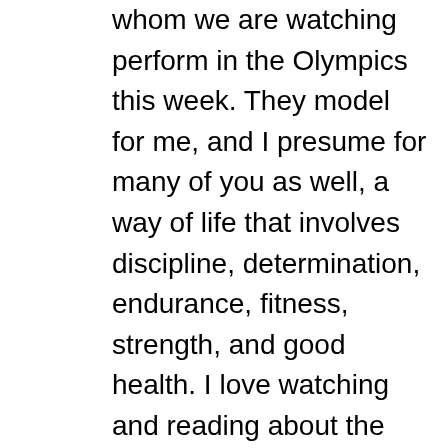whom we are watching perform in the Olympics this week. They model for me, and I presume for many of you as well, a way of life that involves discipline, determination, endurance, fitness, strength, and good health. I love watching and reading about the lives of these athletes, learning about the stories behind the medals. They inspire and challenge me. I'm convinced that Jesus was an ultra marathoner of sorts. Over the course of three years, from his baptism in the Jordan River, to his forty-day vision quest in Judean wilderness, to his ministry in